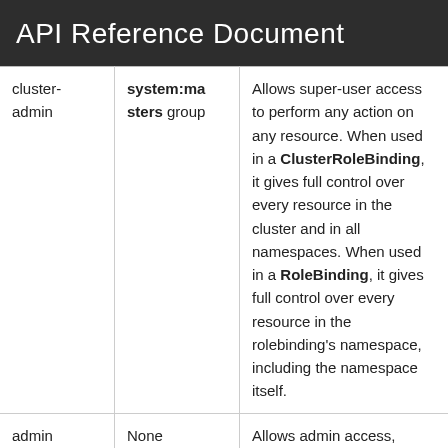API Reference Document
| cluster-admin | system:masters group | Allows super-user access to perform any action on any resource. When used in a ClusterRoleBinding, it gives full control over every resource in the cluster and in all namespaces. When used in a RoleBinding, it gives full control over every resource in the rolebinding's namespace, including the namespace itself. |
| admin | None | Allows admin access, intended to be granted |